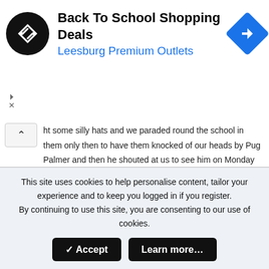[Figure (logo): Advertisement banner: black circular logo with double arrow icon, text 'Back To School Shopping Deals / Leesburg Premium Outlets', blue navigation diamond icon on right]
ht some silly hats and we paraded round the school in them only then to have them knocked of our heads by Pug Palmer and then he shouted at us to see him on Monday morning for a rollicking, what he had forgotten that me and my mate had left school a month earlier and started work, So my mate caught hold of him by his lapels picked him up ( as he was only 5 foot tall) and quietly told him to go forth and multiply.he then ran off and locked himself in the Headmasters Office....Revenge was so sweet.
pagan
This site uses cookies to help personalise content, tailor your experience and to keep you logged in if you register.
By continuing to use this site, you are consenting to our use of cookies.